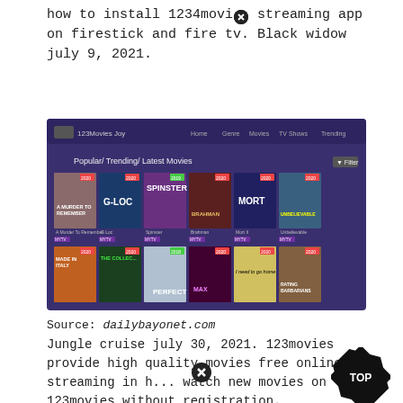how to install 1234movies streaming app on firestick and fire tv. Black widow july 9, 2021.
[Figure (screenshot): Screenshot of 123Movies Joy website showing Popular/Trending/Latest Movies grid with movie posters including A Murder To Remember, G-Loc, Spinster, Brahman, Mort II, Unbelievable, Made in Italy, The Collector, Perfect, and others on a dark purple background.]
Source: dailybayonet.com
Jungle cruise july 30, 2021. 123movies provide high quality movies free online streaming in h... watch new movies on 123movies without registration.